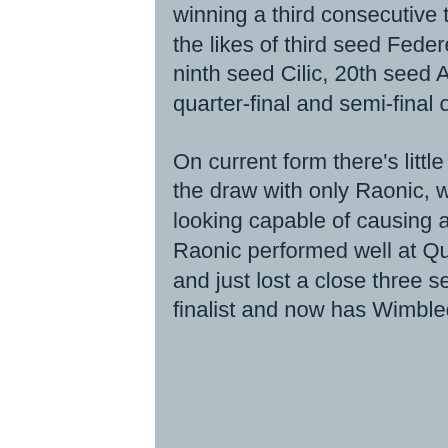winning a third consecutive title. However, his draw is far from easy with the likes of third seed Federer, fifth seed Nishikori, sixth seed Raonic, ninth seed Cilic, 20th seed Anderson and 27th seed Sock potential quarter-final and semi-final opponents.

On current form there's little point in opposing Djokovic in the top-half of the draw with only Raonic, who he is drawn to meet in the quarter-finals, looking capable of causing an upset if they did meet at this stage. Raonic performed well at Queens recently where he reached the final and just lost a close three setter against Murray. He's a former semi-finalist and now has Wimbledon legend John McEnroe on his